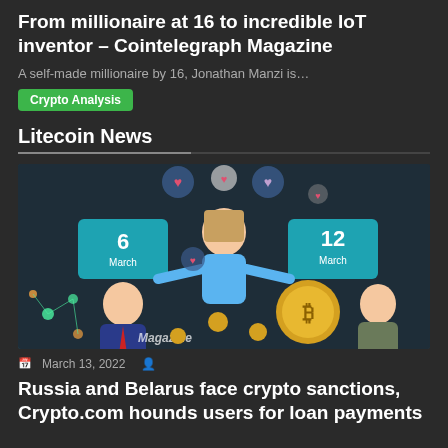From millionaire at 16 to incredible IoT inventor – Cointelegraph Magazine
A self-made millionaire by 16, Jonathan Manzi is…
Crypto Analysis
Litecoin News
[Figure (illustration): Colorful crypto-themed illustration showing cartoon characters with floating hearts/balloons, calendar dates (6 March, 12 March), a man in a suit with blockchain connections, a coin with a crypto symbol, and a woman in a jacket. Magazine logo visible.]
March 13, 2022
Russia and Belarus face crypto sanctions, Crypto.com hounds users for loan payments